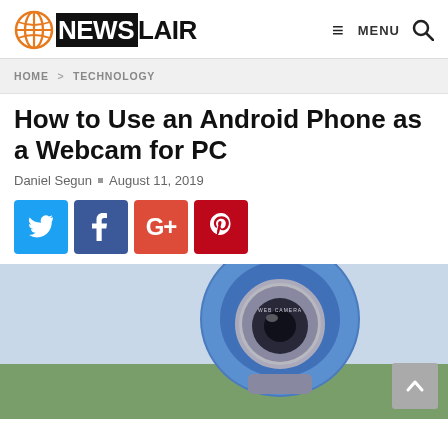NEWSLAIR | MENU
HOME > TECHNOLOGY
How to Use an Android Phone as a Webcam for PC
Daniel Segun • August 11, 2019
[Figure (infographic): Social share buttons: Twitter (blue), Facebook (dark blue), Google+ (red), Pinterest (dark red)]
[Figure (photo): Close-up photo of a blue webcam with a metal lens mount against a blurred green outdoor background. A scroll-to-top button (grey, with upward chevron) is in the bottom-right corner of the image.]